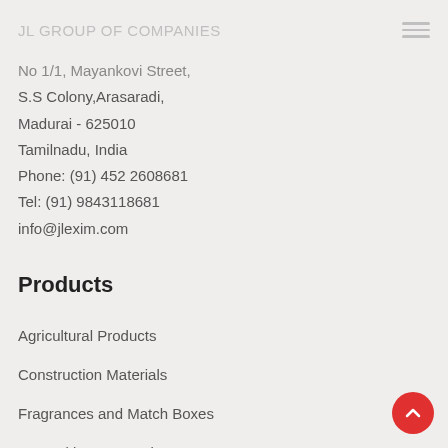JL GROUP OF COMPANIES
No 1/1, Mayankovi Street,
S.S Colony,Arasaradi,
Madurai - 625010
Tamilnadu, India
Phone: (91) 452 2608681
Tel: (91) 9843118681
info@jlexim.com
Products
Agricultural Products
Construction Materials
Fragrances and Match Boxes
Networking & Security